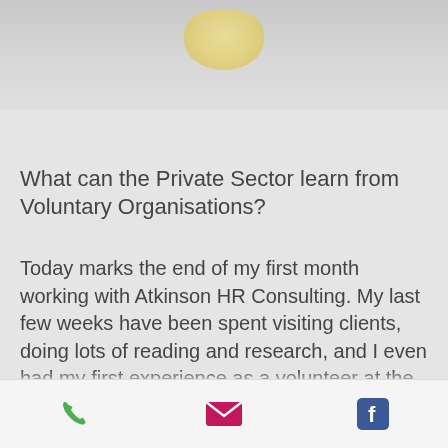[Figure (photo): Top portion of page showing a blurred light-colored background with a faint yellowish oval shape near the top center]
What can the Private Sector learn from Voluntary Organisations?
Today marks the end of my first month working with Atkinson HR Consulting. My last few weeks have been spent visiting clients, doing lots of reading and research, and I even had my first experience as a volunteer at the Girlguiding trainers' conference.
Having spent my career to date working solely in corporate environments, it's
Phone | Email | Facebook